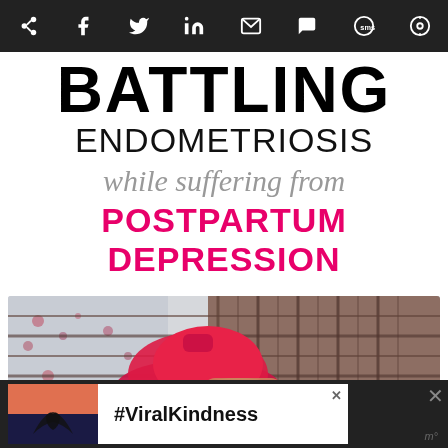Social share icons: Pinterest, Facebook, Twitter, LinkedIn, Email, WhatsApp, SMS, Other
BATTLING ENDOMETRIOSIS while suffering from POSTPARTUM DEPRESSION
[Figure (photo): Person lying down holding a red hot water bottle on their abdomen, wearing a plaid shirt, with floral bedding in background]
[Figure (photo): Advertisement bar with heart hand silhouette sunset photo and text #ViralKindness]